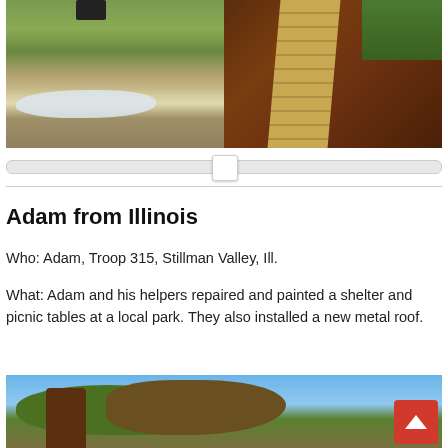[Figure (photo): Two outdoor photos side by side: left shows a lawn with a patch of snow/frost and a person's legs visible at top; right shows a mulch garden bed with a brick/paver path and colorful flowers at the top.]
[Figure (other): A horizontal slider UI element with a white square thumb approximately centered.]
Adam from Illinois
Who: Adam, Troop 315, Stillman Valley, Ill.
What: Adam and his helpers repaired and painted a shelter and picnic tables at a local park. They also installed a new metal roof.
[Figure (photo): Outdoor photo showing trees with green and brown foliage against a blue sky, partially visible at bottom of page. A red back-to-top button with a white upward chevron is overlaid at bottom right.]